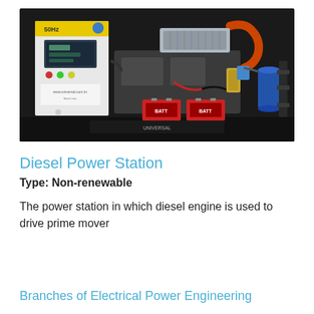[Figure (photo): Photograph of a diesel power station showing a diesel engine with orange and silver pipes/intercooler, blue cylindrical component, control panel on the left with www.universal.com.br label, two red batteries at the bottom, and black enclosure. Logos and text visible at bottom: UNIVERSAL.]
Diesel Power Station
Type: Non-renewable
The power station in which diesel engine is used to drive prime mover
Branches of Electrical Power Engineering